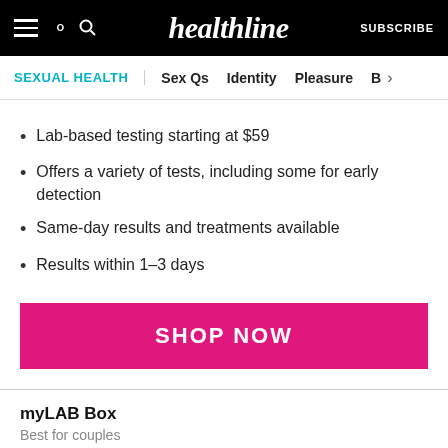healthline | SUBSCRIBE | SEXUAL HEALTH | Sex Qs | Identity | Pleasure | B
Lab-based testing starting at $59
Offers a variety of tests, including some for early detection
Same-day results and treatments available
Results within 1–3 days
SHOP NOW
myLAB Box
Best for couples